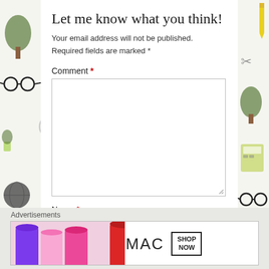Let me know what you think!
Your email address will not be published. Required fields are marked *
Comment *
[Figure (screenshot): Empty comment textarea form field with resize handle in bottom right corner]
Name *
[Figure (screenshot): Empty name text input form field]
Advertisements
[Figure (photo): MAC cosmetics advertisement banner showing colorful lipsticks on left side, MAC logo text in center, and SHOP NOW button box, with red lipstick on right side]